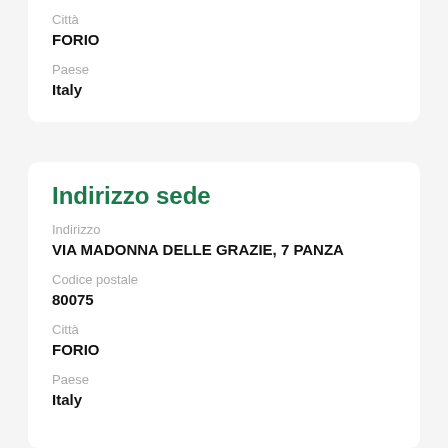Città
FORIO
Paese
Italy
Indirizzo sede
Indirizzo
VIA MADONNA DELLE GRAZIE, 7 PANZA
Codice postale
80075
Città
FORIO
Paese
Italy